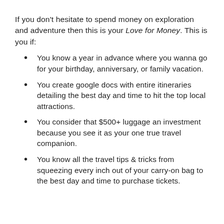If you don't hesitate to spend money on exploration and adventure then this is your Love for Money. This is you if:
You know a year in advance where you wanna go for your birthday, anniversary, or family vacation.
You create google docs with entire itineraries detailing the best day and time to hit the top local attractions.
You consider that $500+ luggage an investment because you see it as your one true travel companion.
You know all the travel tips & tricks from squeezing every inch out of your carry-on bag to the best day and time to purchase tickets.